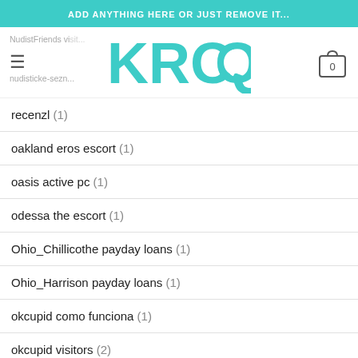ADD ANYTHING HERE OR JUST REMOVE IT...
[Figure (logo): KROQ logo in teal, with hamburger menu icon and shopping cart showing 0]
recenzl (1)
oakland eros escort (1)
oasis active pc (1)
odessa the escort (1)
Ohio_Chillicothe payday loans (1)
Ohio_Harrison payday loans (1)
okcupid como funciona (1)
okcupid visitors (2)
okcupid vs pof for serious relationship (1)